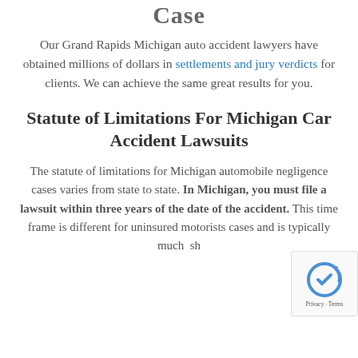Case
Our Grand Rapids Michigan auto accident lawyers have obtained millions of dollars in settlements and jury verdicts for clients. We can achieve the same great results for you.
Statute of Limitations For Michigan Car Accident Lawsuits
The statute of limitations for Michigan automobile negligence cases varies from state to state. In Michigan, you must file a lawsuit within three years of the date of the accident. This time frame is different for uninsured motorists cases and is typically much sh...